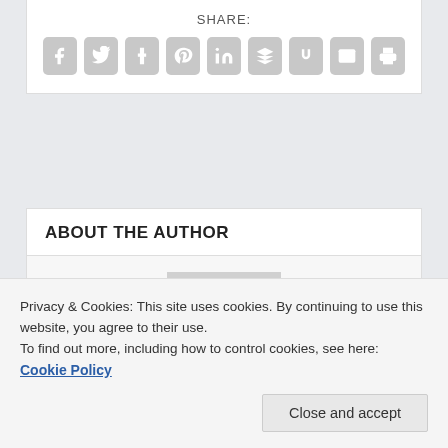SHARE:
[Figure (infographic): Row of 9 social share icon buttons (Facebook, Twitter, Tumblr, Pinterest, LinkedIn, Buffer, StumbleUpon, Email, Print) in gray rounded square icons]
ABOUT THE AUTHOR
[Figure (photo): Black and white portrait photo of a young man smiling, wearing a dark hoodie]
and journalistic work and photography. When it
Privacy & Cookies: This site uses cookies. By continuing to use this website, you agree to their use.
To find out more, including how to control cookies, see here: Cookie Policy
Close and accept